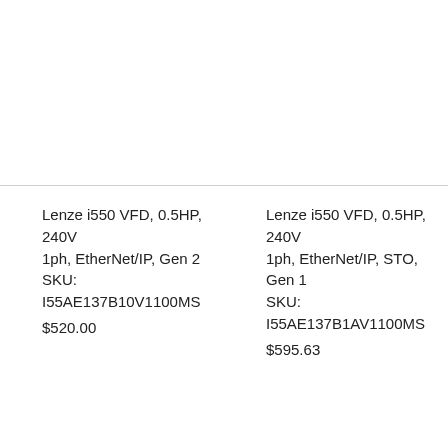Lenze i550 VFD, 0.5HP, 240V 1ph, EtherNet/IP, Gen 2
SKU: I55AE137B10V1100MS
$520.00
Lenze i550 VFD, 0.5HP, 240V 1ph, EtherNet/IP, STO, Gen 1
SKU: I55AE137B1AV1100MS
$595.63